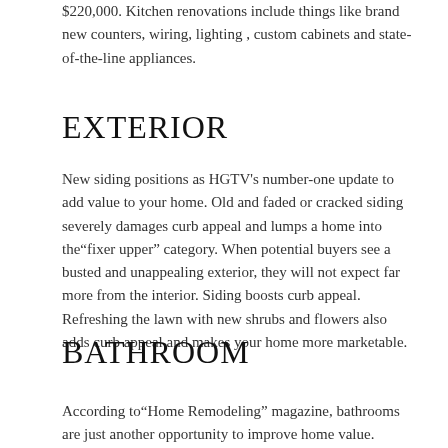$220,000. Kitchen renovations include things like brand new counters, wiring, lighting , custom cabinets and state-of-the-line appliances.
EXTERIOR
New siding positions as HGTV's number-one update to add value to your home. Old and faded or cracked siding severely damages curb appeal and lumps a home into the"fixer upper" category. When potential buyers see a busted and unappealing exterior, they will not expect far more from the interior. Siding boosts curb appeal. Refreshing the lawn with new shrubs and flowers also adds curb appeal and makes your home more marketable.
BATHROOM
According to"Home Remodeling" magazine, bathrooms are just another opportunity to improve home value. Bathroom